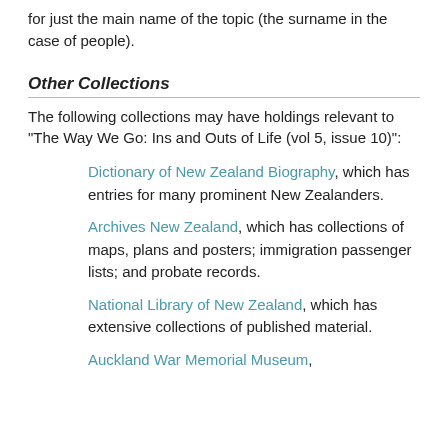for just the main name of the topic (the surname in the case of people).
Other Collections
The following collections may have holdings relevant to "The Way We Go: Ins and Outs of Life (vol 5, issue 10)":
Dictionary of New Zealand Biography, which has entries for many prominent New Zealanders.
Archives New Zealand, which has collections of maps, plans and posters; immigration passenger lists; and probate records.
National Library of New Zealand, which has extensive collections of published material.
Auckland War Memorial Museum,